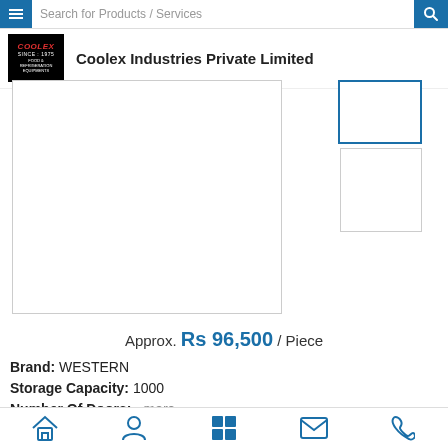Search for Products / Services
Coolex Industries Private Limited
[Figure (photo): Product image area - large blank white rectangle with border, representing a refrigeration equipment product photo]
[Figure (photo): Thumbnail image 1 - selected state with blue border]
[Figure (photo): Thumbnail image 2 - plain with grey border]
Approx. Rs 96,500 / Piece
Brand: WESTERN
Storage Capacity: 1000
Number Of Doors:...more
Home | Profile | Products | Message | Call